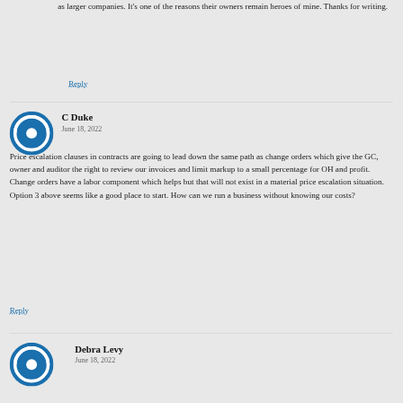as larger companies. It’s one of the reasons their owners remain heroes of mine. Thanks for writing.
Reply
C Duke
June 18, 2022
Price escalation clauses in contracts are going to lead down the same path as change orders which give the GC, owner and auditor the right to review our invoices and limit markup to a small percentage for OH and profit. Change orders have a labor component which helps but that will not exist in a material price escalation situation. Option 3 above seems like a good place to start. How can we run a business without knowing our costs?
Reply
Debra Levy
June 18, 2022